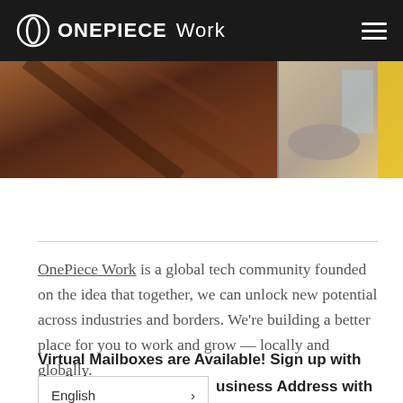ONEPIECE Work
[Figure (photo): Interior photo of a workspace showing wooden furniture elements and a window with yellow trim, split into two panels]
OnePiece Work is a global tech community founded on the idea that together, we can unlock new potential across industries and borders. We're building a better place for you to work and grow — locally and globally.
Virtual Mailboxes are Available! Sign up with the links b
usiness Address with us: